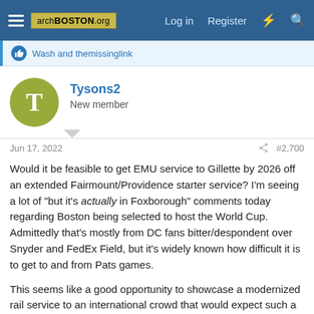archBOSTON.org — Log in  Register
Wash and themissinglink
Tysons2
New member
Jun 17, 2022  #2,700
Would it be feasible to get EMU service to Gillette by 2026 off an extended Fairmount/Providence starter service? I'm seeing a lot of "but it's actually in Foxborough" comments today regarding Boston being selected to host the World Cup. Admittedly that's mostly from DC fans bitter/despondent over Snyder and FedEx Field, but it's widely known how difficult it is to get to and from Pats games.
This seems like a good opportunity to showcase a modernized rail service to an international crowd that would expect such a thing from a city like Boston. And I think a new governor who prioritizes the project could also promote it as an F1 corridor